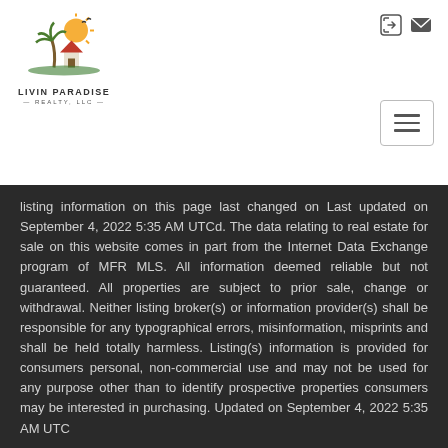[Figure (logo): Livin Paradise Realty LLC logo with sun, palm tree, and house icon]
listing information on this page last changed on Last updated on September 4, 2022 5:35 AM UTCd. The data relating to real estate for sale on this website comes in part from the Internet Data Exchange program of MFR MLS. All information deemed reliable but not guaranteed. All properties are subject to prior sale, change or withdrawal. Neither listing broker(s) or information provider(s) shall be responsible for any typographical errors, misinformation, misprints and shall be held totally harmless. Listing(s) information is provided for consumers personal, non-commercial use and may not be used for any purpose other than to identify prospective properties consumers may be interested in purchasing. Updated on September 4, 2022 5:35 AM UTC